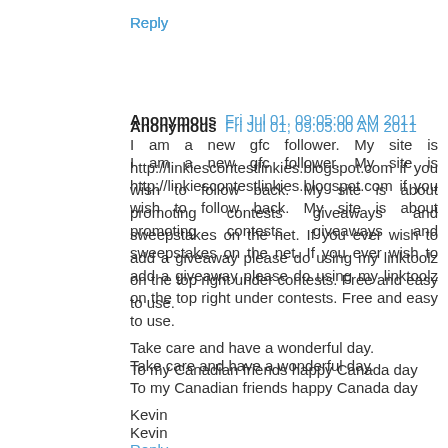Reply
Anonymous  Fri Jul 01, 09:05:00 AM 2011
I am a new gfc follower. My site is http://linkiescontestlinkies.blogspot.com if you wish to follow back. My site is about promoting contests giveaways and sweepstakes on the net. If you ever wish to add a giveaway please do using my linktoolz on the top right under contests. Free and easy to use.

Take care and have a wonderful day.
To my Canadian friends happy Canada day

Kevin
Reply
b&b breakfast  Mon Jul 04, 05:54:00 AM 2011
alisha.mehr@gmail.com
Reply